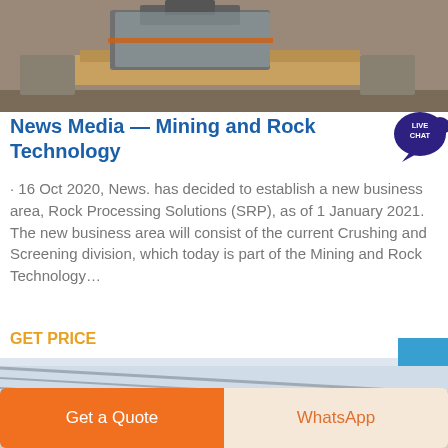[Figure (photo): Photo of mining/industrial equipment on wooden pallets in a warehouse]
News Media — Mining and Rock Technology
· 16 Oct 2020, News. has decided to establish a new business area, Rock Processing Solutions (SRP), as of 1 January 2021. The new business area will consist of the current Crushing and Screening division, which today is part of the Mining and Rock Technology…
GET PRICE
[Figure (photo): Interior of large industrial warehouse/factory with steel roof structure]
Get a Quote
WhatsApp